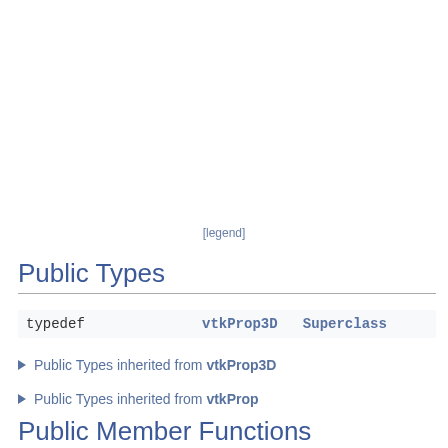[legend]
Public Types
|  |  |
| --- | --- |
| typedef | vtkProp3D   Superclass |
▶ Public Types inherited from vtkProp3D
▶ Public Types inherited from vtkProp
Public Member Functions
|  |  |
| --- | --- |
| virtual int | IsA (const char *type) |